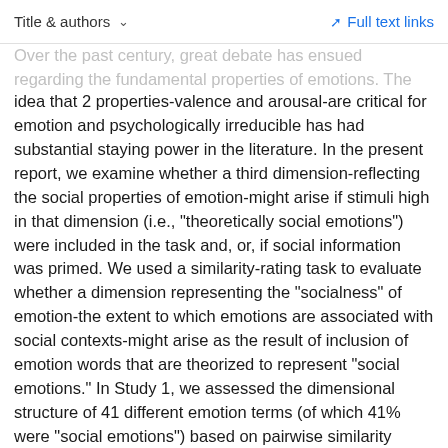Title & authors  ∨   Full text links
Over the past century, great debate has ensued regarding the fundamental properties of emotions. The idea that 2 properties-valence and arousal-are critical for emotion and psychologically irreducible has had substantial staying power in the literature. In the present report, we examine whether a third dimension-reflecting the social properties of emotion-might arise if stimuli high in that dimension (i.e., "theoretically social emotions") were included in the task and, or, if social information was primed. We used a similarity-rating task to evaluate whether a dimension representing the "socialness" of emotion-the extent to which emotions are associated with social contexts-might arise as the result of inclusion of emotion words that are theorized to represent "social emotions." In Study 1, we assessed the dimensional structure of 41 different emotion terms (of which 41% were "social emotions") based on pairwise similarity ratings of a subset of the emotion terms. In Study 2, we tested whether priming social information before and